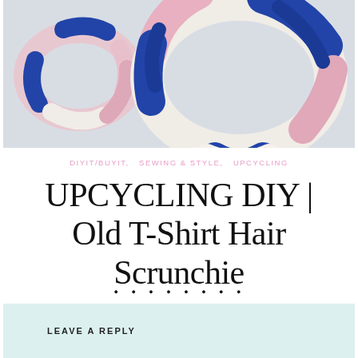[Figure (photo): Two scrunchies made from fabric with blue, pink, and white geometric/chevron pattern on a light grey background]
DIYIT/BUYIT,   SEWING & STYLE,   UPCYCLING
UPCYCLING DIY | Old T-Shirt Hair Scrunchie
• • • • • • • •
LEAVE A REPLY